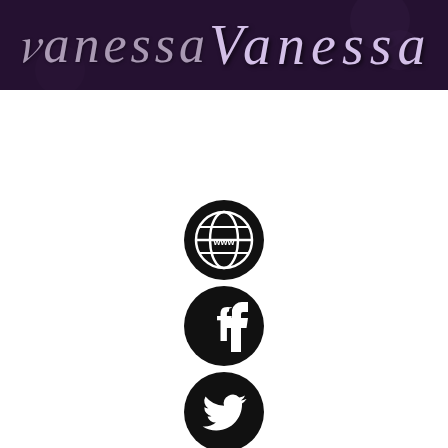[Figure (illustration): Dark purple banner header with stylized cursive text reading 'Vanessa' on a textured dark background]
[Figure (illustration): Column of 5 black circular social media icons: WWW/globe (website), Facebook, Twitter, Instagram, Goodreads, and a partially visible 6th icon at bottom]